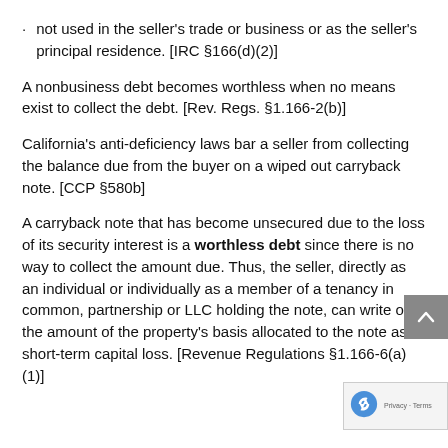not used in the seller's trade or business or as the seller's principal residence. [IRC §166(d)(2)]
A nonbusiness debt becomes worthless when no means exist to collect the debt. [Rev. Regs. §1.166-2(b)]
California's anti-deficiency laws bar a seller from collecting the balance due from the buyer on a wiped out carryback note. [CCP §580b]
A carryback note that has become unsecured due to the loss of its security interest is a worthless debt since there is no way to collect the amount due. Thus, the seller, directly as an individual or individually as a member of a tenancy in common, partnership or LLC holding the note, can write off the amount of the property's basis allocated to the note as a short-term capital loss. [Revenue Regulations §1.166-6(a)(1)]